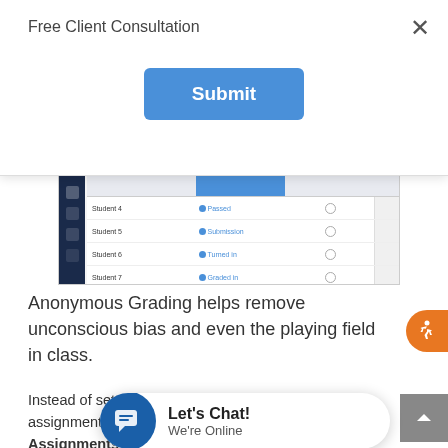Free Client Consultation
[Figure (screenshot): Submit button in a modal dialog for Free Client Consultation]
[Figure (screenshot): Screenshot of an anonymous grading interface showing a gradebook with student entries and status columns]
Anonymous Grading helps remove unconscious bias and even the playing field in class.
Instead of setting things up on an assignment-by-by-assignment basis, educators can now manage a set of Assignments settings in the Assignments tab. Assignment settings allow edu... due times, set preferences of... new student is added to the cla... notifications for the assignment will be posted (like